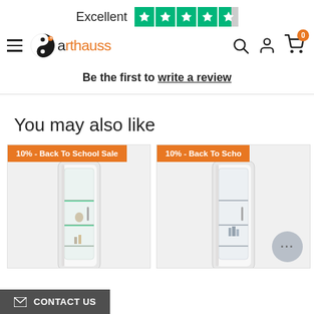[Figure (screenshot): Trustpilot 'Excellent' rating banner with green stars]
[Figure (logo): Arthauss furniture website navigation bar with logo, hamburger menu, search, account, and cart icons]
Be the first to write a review
You may also like
[Figure (photo): Product card: tall white display cabinet with glass door and green LED shelves, labeled '10% - Back To School Sale']
[Figure (photo): Partially visible second product card: similar white display cabinet, labeled '10% - Back To School Sale' (partially cropped)]
CONTACT US